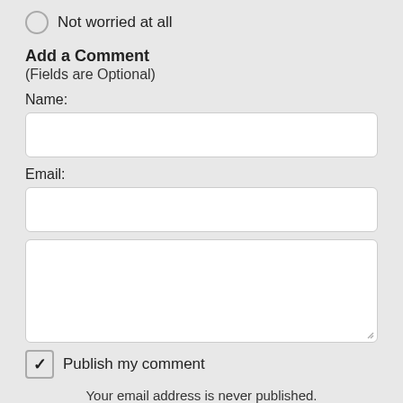Not worried at all
Add a Comment
(Fields are Optional)
Name:
[Figure (other): Text input field for Name]
Email:
[Figure (other): Text input field for Email]
[Figure (other): Textarea for comment input]
Publish my comment
Your email address is never published.